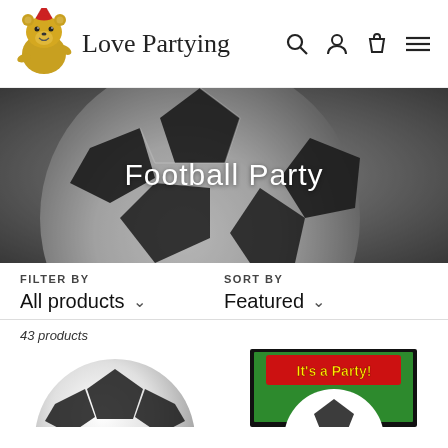[Figure (logo): Love Partying logo with a bear wearing a party hat and cursive text]
[Figure (photo): Close-up of a black and white football/soccer ball banner image with text 'Football Party' overlaid in white]
FILTER BY
All products
SORT BY
Featured
43 products
[Figure (photo): Football/soccer ball product image]
[Figure (photo): Football party invitation card with green background showing 'It's a Party!' text]